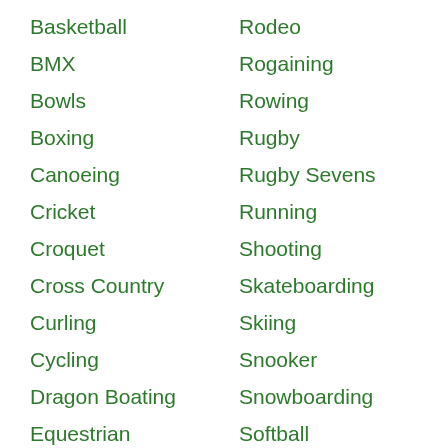Basketball
BMX
Bowls
Boxing
Canoeing
Cricket
Croquet
Cross Country
Curling
Cycling
Dragon Boating
Equestrian
Fencing
Fishing
Rodeo
Rogaining
Rowing
Rugby
Rugby Sevens
Running
Shooting
Skateboarding
Skiing
Snooker
Snowboarding
Softball
Speedway
Squash